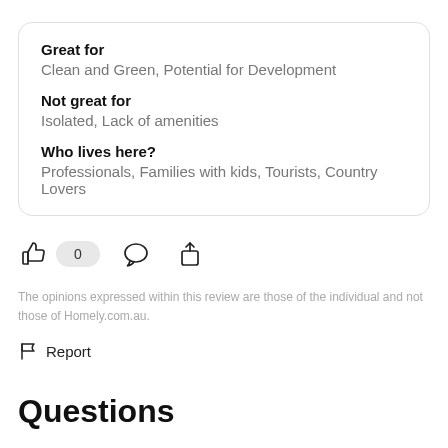Great for
Clean and Green, Potential for Development

Not great for
Isolated, Lack of amenities

Who lives here?
Professionals, Families with kids, Tourists, Country Lovers
[Figure (infographic): Like/thumbs-up icon, count bubble showing 0, speech bubble icon, share icon]
The opinions expressed within this review are those of the individual and not those of Homely.com.au.
Report
Questions